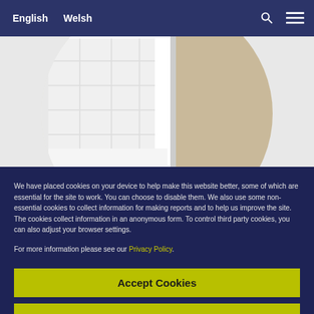English   Welsh
[Figure (photo): Circular cropped photo of a bunk bed with white mattress and bedding, with a beige/cork wall visible on the right side]
We have placed cookies on your device to help make this website better, some of which are essential for the site to work. You can choose to disable them. We also use some non-essential cookies to collect information for making reports and to help us improve the site. The cookies collect information in an anonymous form. To control third party cookies, you can also adjust your browser settings.
For more information please see our Privacy Policy.
Accept Cookies
Disable Cookies